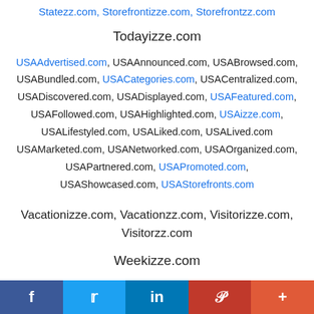Statezz.com, Storefrontizze.com, Storefrontzz.com
Todayizze.com
USAAdvertised.com, USAAnnounced.com, USABrowsed.com, USABundled.com, USACategories.com, USACentralized.com, USADiscovered.com, USADisplayed.com, USAFeatured.com, USAFollowed.com, USAHighlighted.com, USAizze.com, USALifestyled.com, USALiked.com, USALived.com USAMarketed.com, USANetworked.com, USAOrganized.com, USAPartnered.com, USAPromoted.com, USAShowcased.com, USAStorefronts.com
Vacationizze.com, Vacationzz.com, Visitorizze.com, Visitorzz.com
Weekizze.com
All owned and operated by Localzz | Localzz
f  t  in  P  +